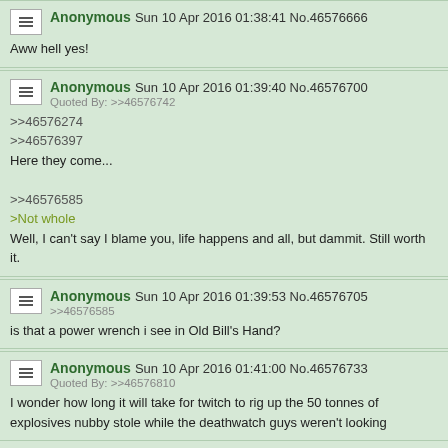Anonymous Sun 10 Apr 2016 01:38:41 No.46576666
Aww hell yes!
Anonymous Sun 10 Apr 2016 01:39:40 No.46576700
Quoted By: >>46576742
>>46576274
>>46576397
Here they come...
>>46576585
>Not whole
Well, I can't say I blame you, life happens and all, but dammit. Still worth it.
Anonymous Sun 10 Apr 2016 01:39:53 No.46576705
>>46576585
is that a power wrench i see in Old Bill's Hand?
Anonymous Sun 10 Apr 2016 01:41:00 No.46576733
Quoted By: >>46576810
I wonder how long it will take for twitch to rig up the 50 tonnes of explosives nubby stole while the deathwatch guys weren't looking